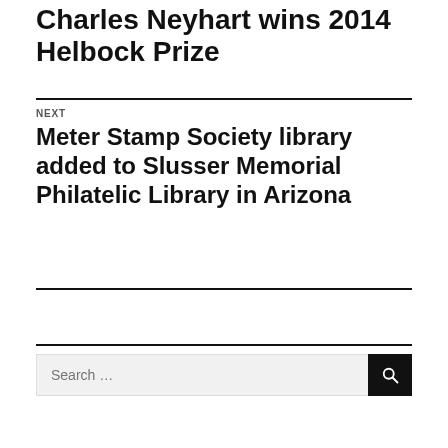Charles Neyhart wins 2014 Helbock Prize
NEXT
Meter Stamp Society library added to Slusser Memorial Philatelic Library in Arizona
Search …